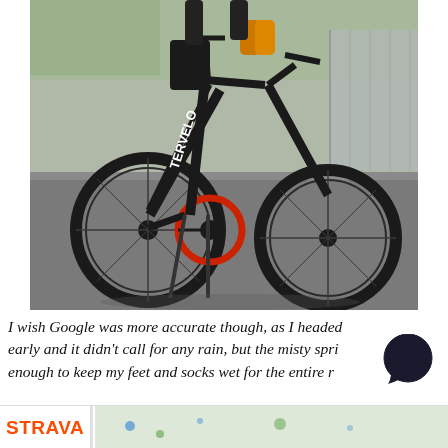[Figure (photo): A black folding/road bicycle (Tern or similar brand) parked on a gray asphalt surface. The bike has a red chainring, black wheels, and a bag on the rear rack. A person's legs are visible at the top of the frame. Background shows a parking area with green trees and metal fencing.]
I wish Google was more accurate though, as I headed early and it didn't call for any rain, but the misty spring [rain was] enough to keep my feet and socks wet for the entire [ride].
[Figure (screenshot): Bottom strip showing STRAVA logo in orange on white background with a partial map view.]